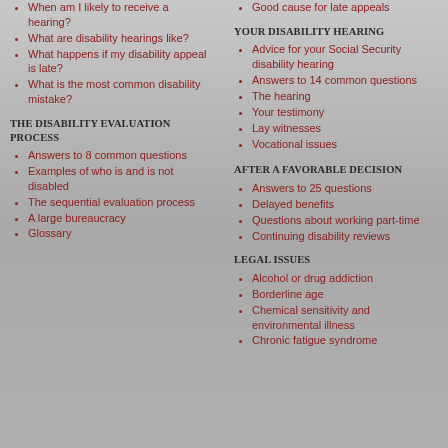When am I likely to receive a hearing?
What are disability hearings like?
What happens if my disability appeal is late?
What is the most common disability mistake?
The disability evaluation process
Answers to 8 common questions
Examples of who is and is not disabled
The sequential evaluation process
A large bureaucracy
Glossary
Good cause for late appeals
Your disability hearing
Advice for your Social Security disability hearing
Answers to 14 common questions
The hearing
Your testimony
Lay witnesses
Vocational issues
After a favorable decision
Answers to 25 questions
Delayed benefits
Questions about working part-time
Continuing disability reviews
Legal issues
Alcohol or drug addiction
Borderline age
Chemical sensitivity and environmental illness
Chronic fatigue syndrome